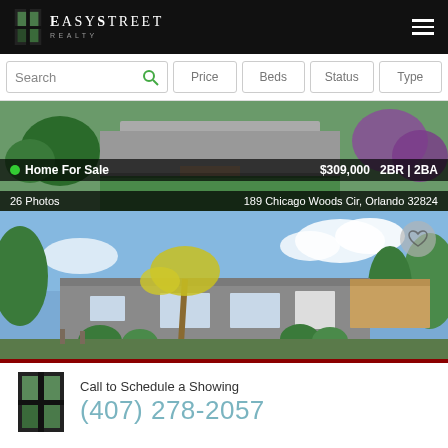EasyStreet Realty
Search | Price | Beds | Status | Type
[Figure (photo): Aerial view of a house with gray roof, green lawn, and purple flowering trees. Overlay text: Home For Sale | $309,000 2BR | 2BA | 26 Photos | 189 Chicago Woods Cir, Orlando 32824]
[Figure (photo): Street-level view of a gray ranch-style house with palm trees, carport, and blue sky. Heart/favorite icon in top right.]
Call to Schedule a Showing
(407) 278-2057